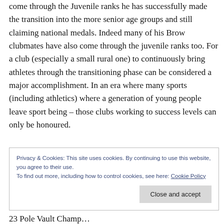come through the Juvenile ranks he has successfully made the transition into the more senior age groups and still claiming national medals. Indeed many of his Brow clubmates have also come through the juvenile ranks too. For a club (especially a small rural one) to continuously bring athletes through the transitioning phase can be considered a major accomplishment. In an era where many sports (including athletics) where a generation of young people leave sport being – those clubs working to success levels can only be honoured.
Privacy & Cookies: This site uses cookies. By continuing to use this website, you agree to their use.
To find out more, including how to control cookies, see here: Cookie Policy
23 Pole Vault Championship occasion during this